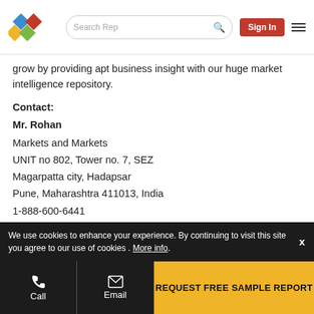[Figure (logo): MarketsandMarkets diamond logo with blue, red, yellow, and green diamonds]
grow by providing apt business insight with our huge market intelligence repository.
Contact:
Mr. Rohan
Markets and Markets
UNIT no 802, Tower no. 7, SEZ
Magarpatta city, Hadapsar
Pune, Maharashtra 411013, India
1-888-600-6441
Email: sales@marketsandmarkets.com
We use cookies to enhance your experience. By continuing to visit this site you agree to our use of cookies . More info.
Call  Email  REQUEST FREE SAMPLE REPORT